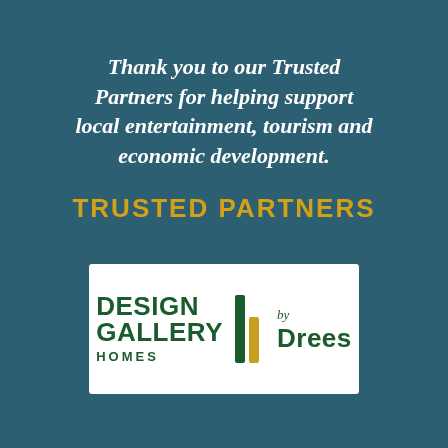Thank you to our Trusted Partners for helping support local entertainment, tourism and economic development.
TRUSTED PARTNERS
[Figure (logo): Design Gallery Homes by Drees logo — white rectangle containing dark green text 'DESIGN GALLERY HOMES' on the left with a vertical bar divider (dark green tall bar and gold shorter bar), and 'by Drees' in dark green italic/bold on the right.]